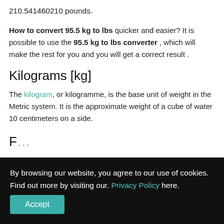210.541460210 pounds.
How to convert 95.5 kg to lbs quicker and easier? It is possible to use the 95.5 kg to lbs converter , which will make the rest for you and you will get a correct result .
Kilograms [kg]
The kilogram, or kilogramme, is the base unit of weight in the Metric system. It is the approximate weight of a cube of water 10 centimeters on a side.
By browsing our website, you agree to our use of cookies. Find out more by visiting our. Privacy Policy here. Accept